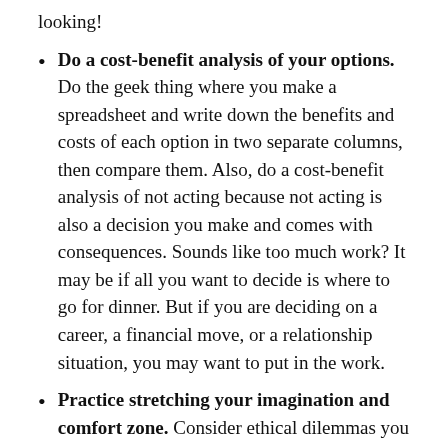looking!
Do a cost-benefit analysis of your options. Do the geek thing where you make a spreadsheet and write down the benefits and costs of each option in two separate columns, then compare them. Also, do a cost-benefit analysis of not acting because not acting is also a decision you make and comes with consequences. Sounds like too much work? It may be if all you want to decide is where to go for dinner. But if you are deciding on a career, a financial move, or a relationship situation, you may want to put in the work.
Practice stretching your imagination and comfort zone. Consider ethical dilemmas you ...